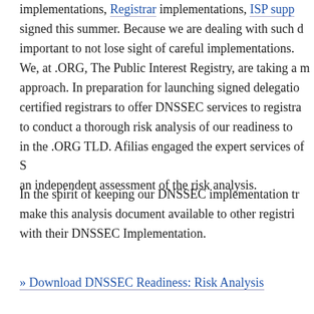implementations, Registrar implementations, ISP supp signed this summer. Because we are dealing with such d important to not lose sight of careful implementations.
We, at .ORG, The Public Interest Registry, are taking a m approach. In preparation for launching signed delegatio certified registrars to offer DNSSEC services to registra to conduct a thorough risk analysis of our readiness to in the .ORG TLD. Afilias engaged the expert services of S an independent assessment of the risk analysis.
In the spirit of keeping our DNSSEC implementation tr make this analysis document available to other registri with their DNSSEC Implementation.
» Download DNSSEC Readiness: Risk Analysis